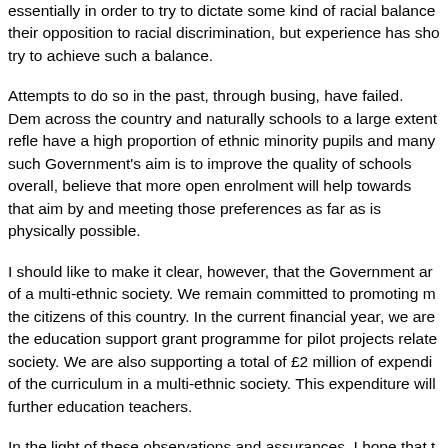essentially in order to try to dictate some kind of racial balance their opposition to racial discrimination, but experience has shown try to achieve such a balance.
Attempts to do so in the past, through busing, have failed. Demographics across the country and naturally schools to a large extent reflect have a high proportion of ethnic minority pupils and many such Government's aim is to improve the quality of schools overall, believe that more open enrolment will help towards that aim by and meeting those preferences as far as is physically possible.
I should like to make it clear, however, that the Government are of a multi-ethnic society. We remain committed to promoting m the citizens of this country. In the current financial year, we are the education support grant programme for pilot projects related society. We are also supporting a total of £2 million of expenditure of the curriculum in a multi-ethnic society. This expenditure will further education teachers.
In the light of these observations and assurances, I hope that the amendment.